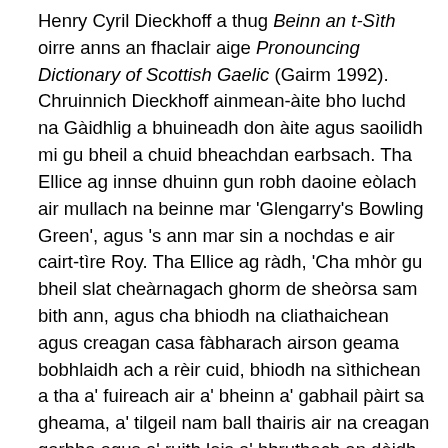Henry Cyril Dieckhoff a thug Beinn an t-Sìth oirre anns an fhaclair aige Pronouncing Dictionary of Scottish Gaelic (Gairm 1992). Chruinnich Dieckhoff ainmean-àite bho luchd na Gàidhlig a bhuineadh don àite agus saoilidh mi gu bheil a chuid bheachdan earbsach. Tha Ellice ag innse dhuinn gun robh daoine eòlach air mullach na beinne mar 'Glengarry's Bowling Green', agus 's ann mar sin a nochdas e air cairt-tìre Roy. Tha Ellice ag ràdh, 'Cha mhòr gu bheil slat cheàrnagach ghorm de sheòrsa sam bith ann, agus cha bhiodh na cliathaichean agus creagan casa fàbharach airson geama bobhlaidh ach a rèir cuid, bhiodh na sìthichean a tha a' fuireach air a' bheinn a' gabhail pàirt sa gheama, a' tilgeil nam ball thairis air na creagan garbha agus a' ruith leis a' bhruthach an dèidh na feadhainn a bh' air a dhol a dhìth.' Cha chreid mi gum biodh an geama sin coltach ris a' bhobhladh air a bheil mise (rud beag) eòlach!